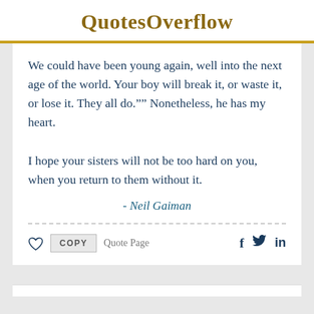QuotesOverflow
We could have been young again, well into the next age of the world. Your boy will break it, or waste it, or lose it. They all do."" Nonetheless, he has my heart.

I hope your sisters will not be too hard on you, when you return to them without it.
- Neil Gaiman